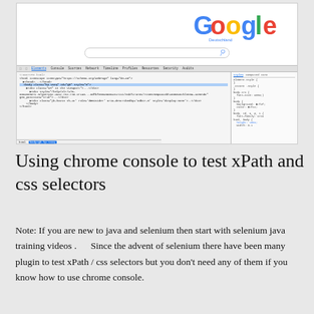[Figure (screenshot): Screenshot of Google Deutschland homepage with Chrome DevTools open showing HTML elements panel and Styles panel]
Using chrome console to test xPath and css selectors
Note: If you are new to java and selenium then start with selenium java training videos .      Since the advent of selenium there have been many plugin to test xPath / css selectors but you don't need any of them if you know how to use chrome console.